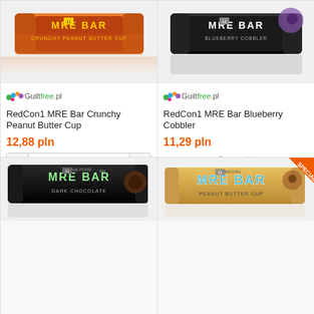[Figure (photo): RedCon1 MRE Bar Crunchy Peanut Butter Cup product with orange packaging, Guiltfree.pl logo]
RedCon1 MRE Bar Crunchy Peanut Butter Cup
12,88 pln
1
To cart
[Figure (photo): RedCon1 MRE Bar Blueberry Cobbler product with dark packaging, Guiltfree.pl logo]
RedCon1 MRE Bar Blueberry Cobbler
11,29 pln
Currently not available
Notify me
[Figure (photo): MRE Bar dark chocolate flavor in black packaging]
[Figure (photo): MRE Bar product with SPECIAL badge in orange, tan/gold packaging]